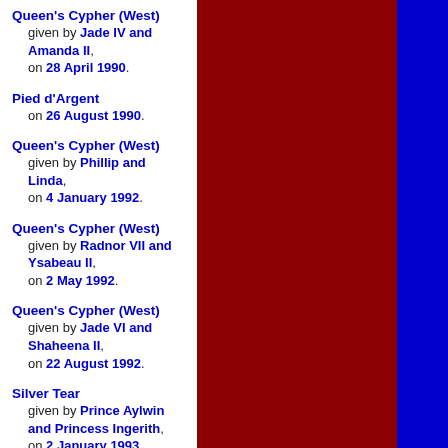Queen's Cypher (West) given by Jade IV and Amanda II, on 28 April 1990.
Pied d'Argent on 26 August 1990.
Queen's Cypher (West) given by Phillip and Linda, on 4 January 1992.
Queen's Cypher (West) given by Radnor VII and Ysabeau II, on 2 May 1992.
Queen's Cypher (West) given by Jade VI and Shaheena II, on 22 August 1992.
Silver Tear given by Prince Aylwin and Princess Ingerith, on 2 January 1993.
[Figure (other): Dark red vertical block and dark blue vertical block forming decorative background columns on the right side of the page.]